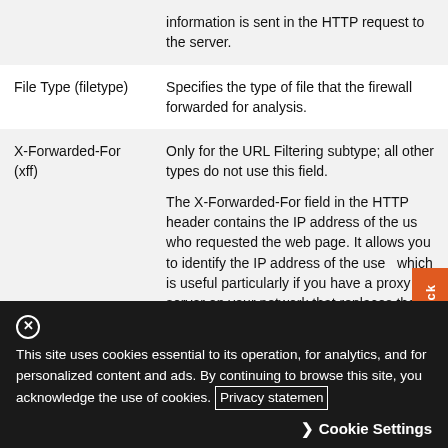| Field | Description |
| --- | --- |
|  | information is sent in the HTTP request to the server. |
| File Type (filetype) | Specifies the type of file that the firewall forwarded for analysis. |
| X-Forwarded-For (xff) | Only for the URL Filtering subtype; all other types do not use this field.

The X-Forwarded-For field in the HTTP header contains the IP address of the user who requested the web page. It allows you to identify the IP address of the user, which is useful particularly if you have a proxy server on your network that replaces the user IP address with its own address in the source IP address field of the packet header. |
This site uses cookies essential to its operation, for analytics, and for personalized content and ads. By continuing to browse this site, you acknowledge the use of cookies. Privacy statement
Cookie Settings